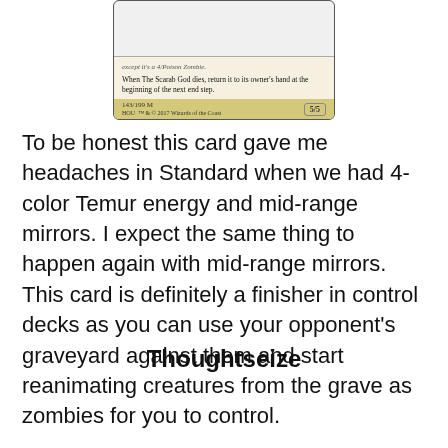[Figure (photo): Magic: The Gathering card image (The Scarab God) showing card text: 'When The Scarab God dies, return it to its owner's hand at the beginning of the next end step.' with power/toughness 5/5 and set number 143/199]
To be honest this card gave me headaches in Standard when we had 4-color Temur energy and mid-range mirrors. I expect the same thing to happen again with mid-range mirrors. This card is definitely a finisher in control decks as you can use your opponent's graveyard against them and start reanimating creatures from the grave as zombies for you to control.
Thoughtseize
[Figure (photo): Magic: The Gathering card named 'Thoughtseize' with dark fantasy artwork showing a creature with wings in a swirling dark blue and purple background with a moon]